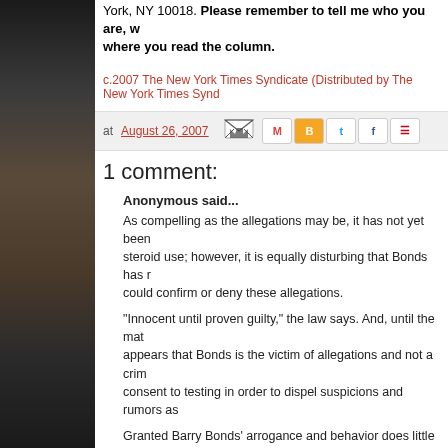York, NY 10018. Please remember to tell me who you are, where you read the column.
c.2007 The New York Times Syndicate (Distributed by The New York Times Synd...
at August 26, 2007
1 comment:
Anonymous said...
As compelling as the allegations may be, it has not yet been steroid use; however, it is equally disturbing that Bonds has r could confirm or deny these allegations.
"Innocent until proven guilty," the law says. And, until the mat appears that Bonds is the victim of allegations and not a crim consent to testing in order to dispel suspicions and rumors as
Granted Barry Bonds' arrogance and behavior does little to s regarding steroid use, and no matter how much we may hate proven guilty" is the rule. Therefore, until a conviction arises, valid baseball player entitled to the rights and privileges asso milestone.